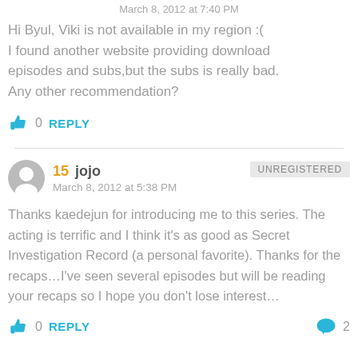March 8, 2012 at 7:40 PM
Hi Byul, Viki is not available in my region :( I found another website providing download episodes and subs,but the subs is really bad. Any other recommendation?
0  REPLY
15  jojo  UNREGISTERED
March 8, 2012 at 5:38 PM
Thanks kaedejun for introducing me to this series. The acting is terrific and I think it's as good as Secret Investigation Record (a personal favorite). Thanks for the recaps…I've seen several episodes but will be reading your recaps so I hope you don't lose interest…
0  REPLY  2